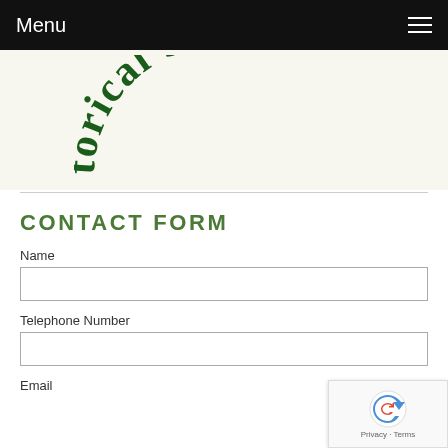Menu
[Figure (logo): Partial view of a circular logo reading 'Historical Society' in dark green Old English / Gothic typeface on a cream background]
CONTACT FORM
Name
Telephone Number
Email